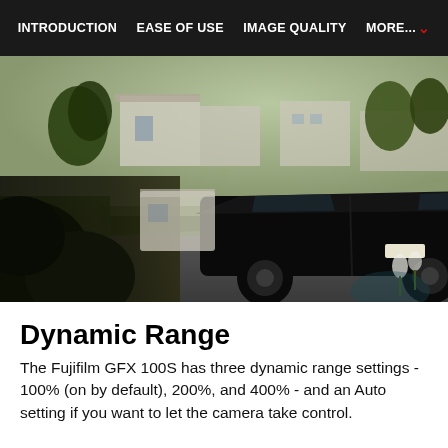INTRODUCTION | EASE OF USE | IMAGE QUALITY | MORE...
[Figure (photo): Outdoor photograph of a black Honda CR-V SUV parked on a driveway, with green lawn, bushes, daffodils, trees and suburban houses in the background. High dynamic range scene with bright highlights and dark shadow areas.]
Dynamic Range
The Fujifilm GFX 100S has three dynamic range settings - 100% (on by default), 200%, and 400% - and an Auto setting if you want to let the camera take control.